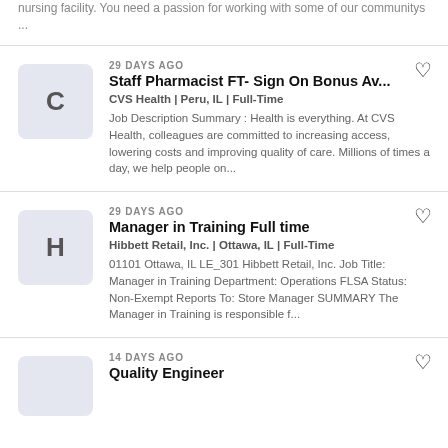nursing facility. You need a passion for working with some of our communitys ...
29 DAYS AGO
Staff Pharmacist FT- Sign On Bonus Av...
CVS Health | Peru, IL | Full-Time
Job Description Summary : Health is everything. At CVS Health, colleagues are committed to increasing access, lowering costs and improving quality of care. Millions of times a day, we help people on...
29 DAYS AGO
Manager in Training Full time
Hibbett Retail, Inc. | Ottawa, IL | Full-Time
01101 Ottawa, IL LE_301 Hibbett Retail, Inc. Job Title: Manager in Training Department: Operations FLSA Status: Non-Exempt Reports To: Store Manager SUMMARY The Manager in Training is responsible f...
14 DAYS AGO
Quality Engineer